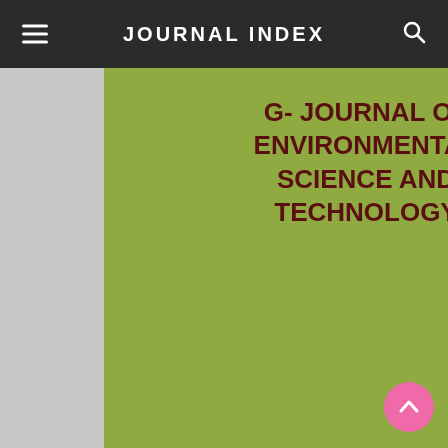JOURNAL INDEX
[Figure (illustration): Journal cover for G-Journal of Environmental Science and Technology, Volume 1, Issue 2, Sep-Oct 2013. Green background with dark red title text. ISSN (Online): 2322-0228, ISSN (print): 2322-021X. Bottom bar shows VOLUME 1, ISSUE 2, Sep - Oct, 2013 on dark red background.]